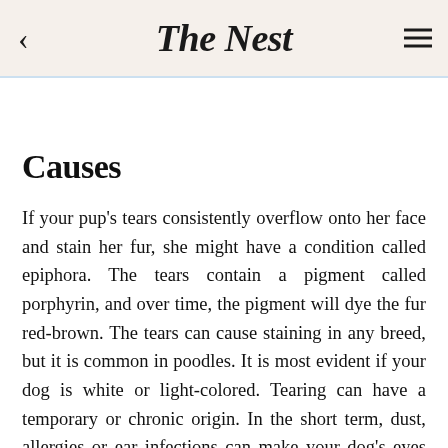The Nest
Causes
If your pup's tears consistently overflow onto her face and stain her fur, she might have a condition called epiphora. The tears contain a pigment called porphyrin, and over time, the pigment will dye the fur red-brown. The tears can cause staining in any breed, but it is common in poodles. It is most evident if your dog is white or light-colored. Tearing can have a temporary or chronic origin. In the short term, dust, allergies or ear infections can make your dog's eyes water. Certain conditions can